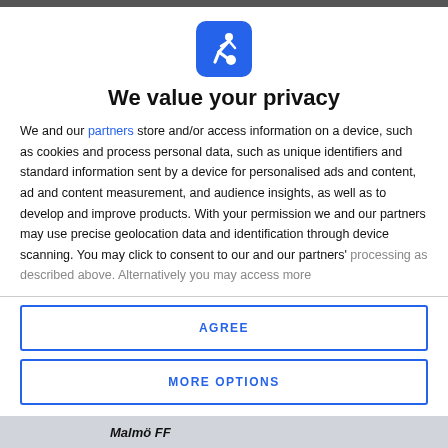[Figure (logo): Blue rounded square logo with white figure kicking a ball (football/soccer icon)]
We value your privacy
We and our partners store and/or access information on a device, such as cookies and process personal data, such as unique identifiers and standard information sent by a device for personalised ads and content, ad and content measurement, and audience insights, as well as to develop and improve products. With your permission we and our partners may use precise geolocation data and identification through device scanning. You may click to consent to our and our partners' processing as described above. Alternatively you may access more
AGREE
MORE OPTIONS
Malmö FF